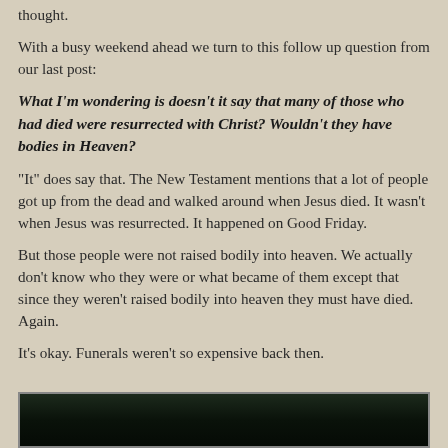thought.
With a busy weekend ahead we turn to this follow up question from our last post:
What I'm wondering is doesn't it say that many of those who had died were resurrected with Christ? Wouldn't they have bodies in Heaven?
"It" does say that. The New Testament mentions that a lot of people got up from the dead and walked around when Jesus died. It wasn't when Jesus was resurrected. It happened on Good Friday.
But those people were not raised bodily into heaven. We actually don't know who they were or what became of them except that since they weren't raised bodily into heaven they must have died. Again.
It's okay. Funerals weren't so expensive back then.
[Figure (photo): Partial view of a dark photograph, mostly dark greens and blacks, partially cropped at bottom of page]